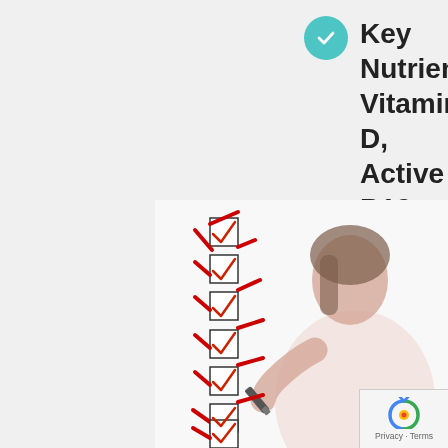Key Nutrients; Vitamin D, Active B12, Ferritin, Folate, Magnesium
[Figure (photo): A woman in a white shirt holding a marker, checking items on a checklist with multiple checkboxes each marked with a red checkmark]
Privacy - Terms